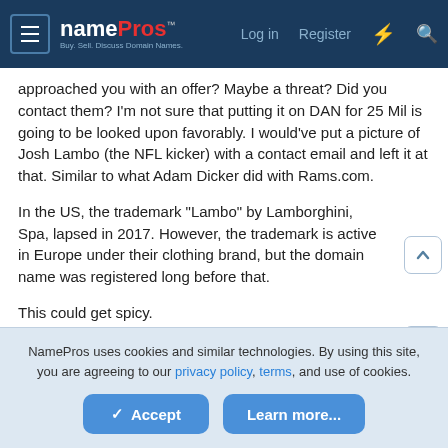namePros — Buy. Sell. Discuss Domain Names. | Log in | Register
approached you with an offer? Maybe a threat? Did you contact them? I'm not sure that putting it on DAN for 25 Mil is going to be looked upon favorably. I would've put a picture of Josh Lambo (the NFL kicker) with a contact email and left it at that. Similar to what Adam Dicker did with Rams.com.
In the US, the trademark "Lambo" by Lamborghini, Spa, lapsed in 2017. However, the trademark is active in Europe under their clothing brand, but the domain name was registered long before that.
This could get spicy.
NamePros uses cookies and similar technologies. By using this site, you are agreeing to our privacy policy, terms, and use of cookies.